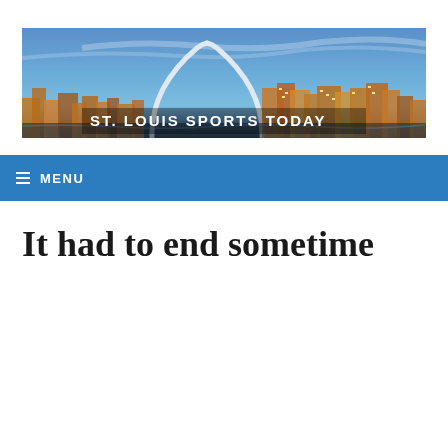[Figure (photo): St. Louis Sports Today banner image showing the St. Louis Gateway Arch and city skyline at dusk/twilight with blue sky, with text 'ST. LOUIS SPORTS TODAY' overlaid in white bold uppercase letters]
≡ MENU
It had to end sometime